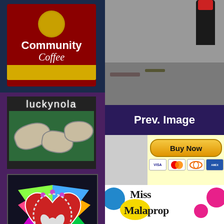[Figure (photo): Community Coffee logo/advertisement with red background and circular gold emblem]
[Figure (photo): Luckynola artisan ceramic stones/chips with organic leaf patterns on green background]
[Figure (photo): Colorful Mardi Gras fleur-de-lis heart shield artwork with beading and bright colors]
SEARCH
Mardi Gras
Parade Schedule.com
[Figure (photo): Photo of what appears to be a fire hydrant on sidewalk/pavement]
Prev. Image
[Figure (logo): Buy Now PayPal button with payment card icons (VISA, Mastercard, Discover, AmEx)]
Use the Above "Buy it Now" button to purchase. Price is per download unless otherwise noted. Once your payment is complete, you will be sent a link for your download. All images are free of watermarks when downloaded. Not to be used or distributed in any manner other than for personal use (that means no commercial use).
[Figure (logo): Miss Malaprop logo with colorful circles and bold text]